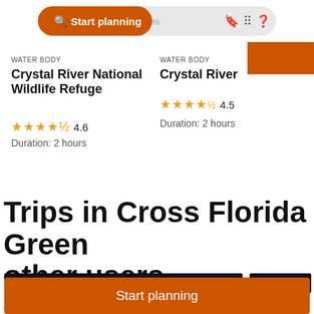[Figure (screenshot): Search bar with orange 'Start planning' button on left, icons on right including bookmark, grid, and help icons on a gray pill-shaped background]
WATER BODY
Crystal River National Wildlife Refuge
4.6
Duration: 2 hours
WATER BODY
Crystal River
4.5
Duration: 2 hours
Trips in Cross Florida Green other users
Start planning